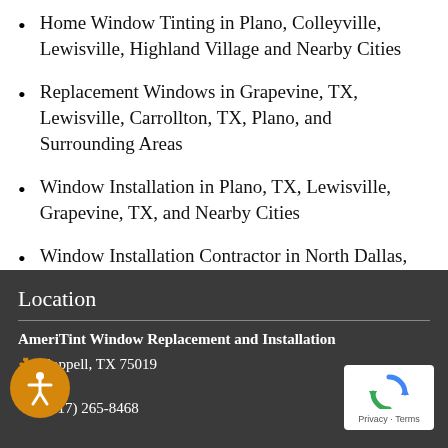Home Window Tinting in Plano, Colleyville, Lewisville, Highland Village and Nearby Cities
Replacement Windows in Grapevine, TX, Lewisville, Carrollton, TX, Plano, and Surrounding Areas
Window Installation in Plano, TX, Lewisville, Grapevine, TX, and Nearby Cities
Window Installation Contractor in North Dallas, Grapevine, TX, Plano, and Surrounding Areas
Location
AmeriTint Window Replacement and Installation
Coppell, TX 75019
Cell:
(817) 265-8468